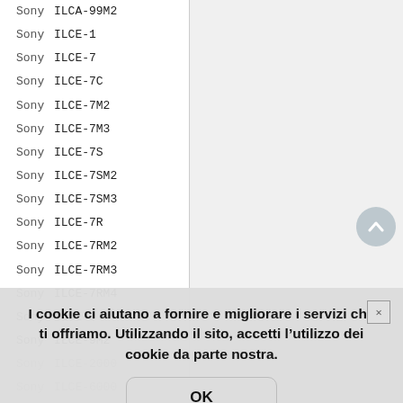Sony ILCA-99M2
Sony ILCE-1
Sony ILCE-7
Sony ILCE-7C
Sony ILCE-7M2
Sony ILCE-7M3
Sony ILCE-7S
Sony ILCE-7SM2
Sony ILCE-7SM3
Sony ILCE-7R
Sony ILCE-7RM2
Sony ILCE-7RM3
Sony ILCE-7RM4
Sony ILCE-9
Sony ILCE-9M2
I cookie ci aiutano a fornire e migliorare i servizi che ti offriamo. Utilizzando il sito, accetti l’utilizzo dei cookie da parte nostra.
Sony ILCE-6600